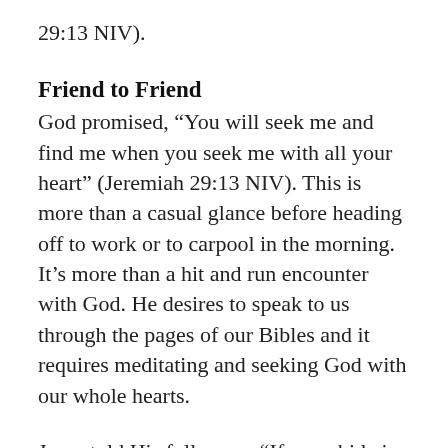29:13 NIV).
Friend to Friend
God promised, “You will seek me and find me when you seek me with all your heart” (Jeremiah 29:13 NIV). This is more than a casual glance before heading off to work or to carpool in the morning. It’s more than a hit and run encounter with God. He desires to speak to us through the pages of our Bibles and it requires meditating and seeking God with our whole hearts.
Jesus told His followers, “If you abide in my Word then you are truly disciples of Mine…